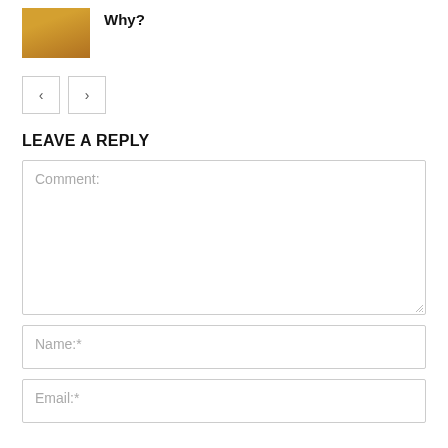[Figure (photo): Thumbnail image of a person in a yellow/mustard sweater holding or adjusting a face mask]
Why?
[Figure (other): Navigation buttons: left arrow and right arrow pagination controls]
LEAVE A REPLY
Comment:
Name:*
Email:*